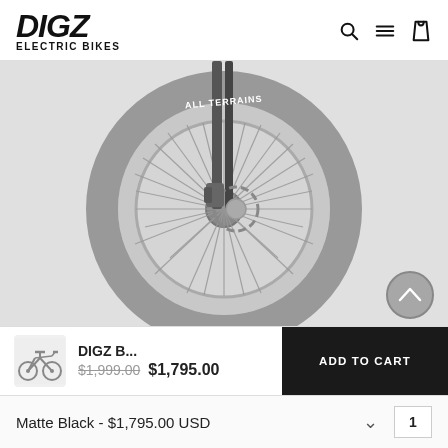[Figure (logo): DIGZ Electric Bikes logo — bold italic DIGZ with ELECTRIC BIKES subtitle]
[Figure (photo): Close-up photo of an electric bike front wheel showing fat tire labeled ALL TERRAINS, spokes, disc brake, and front fork. Grayscale/muted tones on light gray background.]
DIGZ B...  $1,999.00  $1,795.00   ADD TO CART
Matte Black - $1,795.00 USD   1